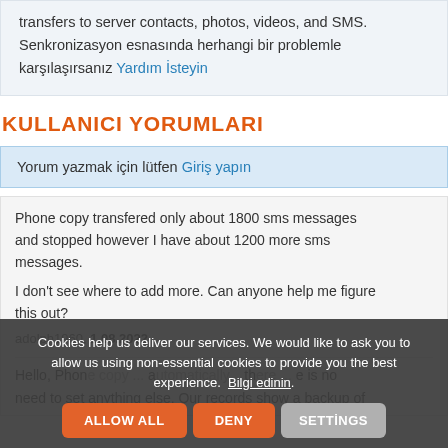transfers to server contacts, photos, videos, and SMS. Senkronizasyon esnasında herhangi bir problemle karşılaşırsanız Yardım İsteyin
KULLANICI YORUMLARI
Yorum yazmak için lütfen Giriş yapın
Phone copy transfered only about 1800 sms messages and stopped however I have about 1200 more sms messages.
I don't see where to add more. Can anyone help me figure this out?
adolph1960, 1.08.2022
Hello, Phon... a... th... e is no need to set anything else. Our records show a backup of
Cookies help us deliver our services. We would like to ask you to allow us using non-essential cookies to provide you the best experience. Bilgi edinin.